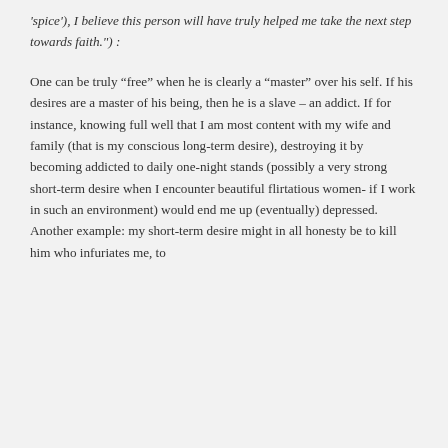'spice'), I believe this person will have truly helped me take the next step towards faith.") :
One can be truly “free” when he is clearly a “master” over his self. If his desires are a master of his being, then he is a slave – an addict. If for instance, knowing full well that I am most content with my wife and family (that is my conscious long-term desire), destroying it by becoming addicted to daily one-night stands (possibly a very strong short-term desire when I encounter beautiful flirtatious women- if I work in such an environment) would end me up (eventually) depressed. Another example: my short-term desire might in all honesty be to kill him who infuriates me, to